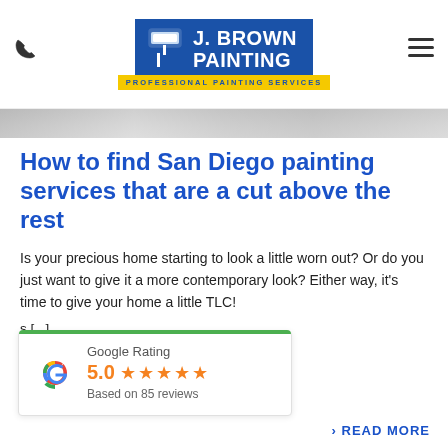[Figure (logo): J. Brown Painting logo — blue box with paint roller icon, white text 'J. BROWN PAINTING', yellow tagline bar 'PROFESSIONAL PAINTING SERVICES']
How to find San Diego painting services that are a cut above the rest
Is your precious home starting to look a little worn out? Or do you just want to give it a more contemporary look? Either way, it's time to give your home a little TLC!
s [...]
[Figure (infographic): Google Rating widget showing 5.0 stars, Based on 85 reviews, with Google G logo]
› READ MORE